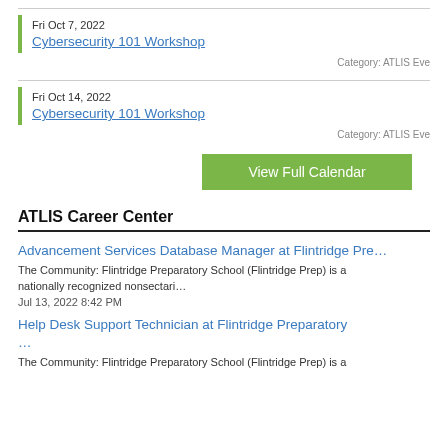Fri Oct 7, 2022
Cybersecurity 101 Workshop
Category: ATLIS Eve
Fri Oct 14, 2022
Cybersecurity 101 Workshop
Category: ATLIS Eve
View Full Calendar
ATLIS Career Center
Advancement Services Database Manager at Flintridge Pre…
The Community: Flintridge Preparatory School (Flintridge Prep) is a nationally recognized nonsectari…
Jul 13, 2022 8:42 PM
Help Desk Support Technician at Flintridge Preparatory …
The Community: Flintridge Preparatory School (Flintridge Prep) is a